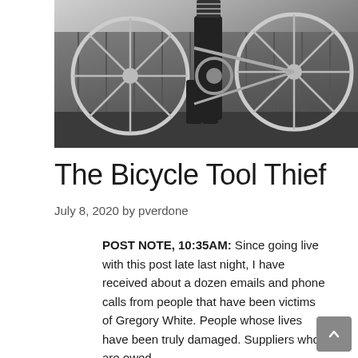[Figure (photo): Black and white photo of a person carrying a bicycle, walking in front of a wooden fence. The bicycle wheels and chain gears are visible.]
The Bicycle Tool Thief
July 8, 2020 by pverdone
POST NOTE, 10:35AM: Since going live with this post late last night, I have received about a dozen emails and phone calls from people that have been victims of Gregory White. People whose lives have been truly damaged. Suppliers who are owed